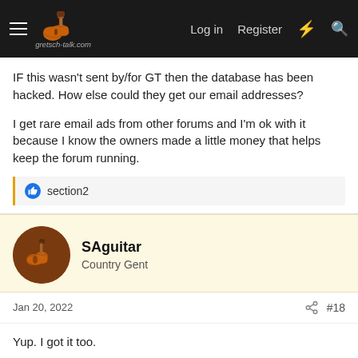gretsch-talk.com — Login  Register
IF this wasn't sent by/for GT then the database has been hacked. How else could they get our email addresses?

I get rare email ads from other forums and I'm ok with it because I know the owners made a little money that helps keep the forum running.
👍 section2
SAguitar
Country Gent
Jan 20, 2022  #18
Yup. I got it too.
ruger9
Country Gent